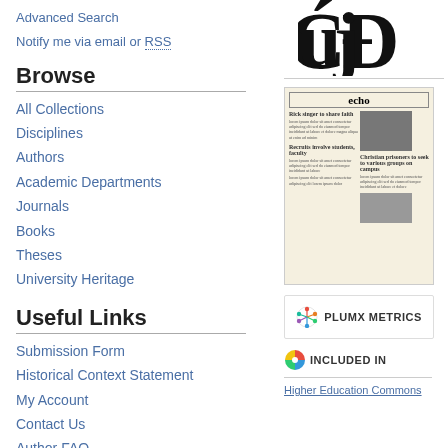Advanced Search
Notify me via email or RSS
Browse
All Collections
Disciplines
Authors
Academic Departments
Journals
Books
Theses
University Heritage
Useful Links
Submission Form
Historical Context Statement
My Account
Contact Us
Author FAQ
[Figure (logo): University or publication logo — large stylized gothic/blackletter letters in black]
[Figure (photo): Thumbnail of a newspaper front page titled 'echo' with headlines and photos in sepia tone]
PLUMX METRICS
INCLUDED IN
Higher Education Commons